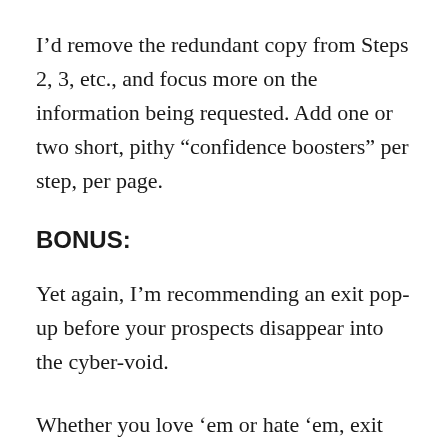I’d remove the redundant copy from Steps 2, 3, etc., and focus more on the information being requested. Add one or two short, pithy “confidence boosters” per step, per page.
BONUS:
Yet again, I’m recommending an exit pop-up before your prospects disappear into the cyber-void.
Whether you love ’em or hate ’em, exit pop-ups can be very effective and are definitely worth testing. What can you offer to entice a